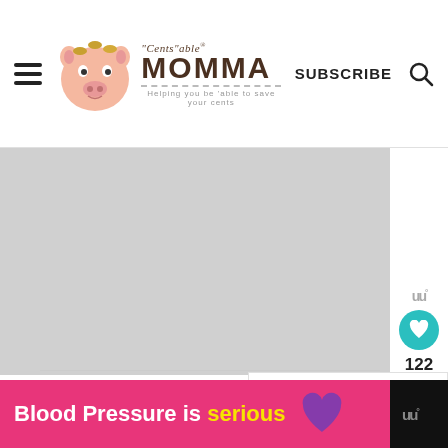Cents'able MOMMA — Helping you be 'able to save your cents | SUBSCRIBE
[Figure (photo): Large main content image area (gray placeholder), partially visible]
[Figure (illustration): Social sharing sidebar with teal heart button showing 122 likes and share button]
« Frugal Valentine's Day Ide...
[Figure (illustration): What's Next panel showing thumbnail for M&M Cupcakes article]
WHAT'S NEXT → M&M Cupcakes...
[Figure (illustration): Advertisement banner: Blood Pressure is serious with purple heart icon on pink background]